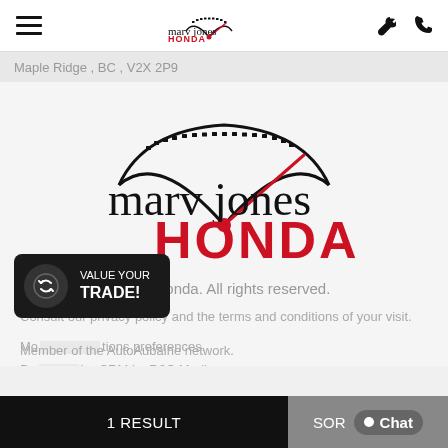marv jones HONDA [hamburger menu, wrench icon, phone icon]
Maple Ridge , BC , V2X 2P9
[Figure (logo): Marv Jones Honda logo — black text 'marv jones' with a speedometer graphic and red 'HONDA' text below]
© 2022 Marv Jones Honda. All rights reserved.
Consult our privacy policy and the terms and conditions of your visit.
Mo... tions preferences.
De... ler CRM by D2C Media.
Member of the AutoAubaine network.
[Figure (infographic): VALUE YOUR TRADE! popup button with circular refresh icon]
1 RESULT | SOR Chat